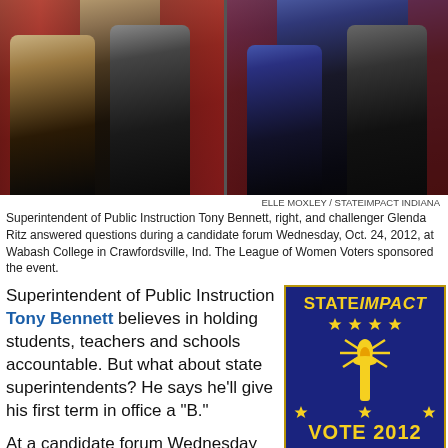[Figure (photo): Two-panel photo showing candidate forum at Wabash College. Left panel: two male panelists seated on stage with red backdrop. Right panel: female and male panelists seated on stage.]
ELLE MOXLEY / STATEIMPACT INDIANA
Superintendent of Public Instruction Tony Bennett, right, and challenger Glenda Ritz answered questions during a candidate forum Wednesday, Oct. 24, 2012, at Wabash College in Crawfordsville, Ind. The League of Women Voters sponsored the event.
Superintendent of Public Instruction Tony Bennett believes in holding students, teachers and schools accountable. But what about state superintendents? He says he’ll give his first term in office a “B.”
[Figure (logo): StateImpact Vote 2012 badge with dark blue background, gold stars and torch graphic, yellow text reading STATEIMPACT and VOTE 2012]
Click to view our coverage of the issues and candidates.
At a candidate forum Wednesday night at Wabash College in Crawfordsville, Bennett says his